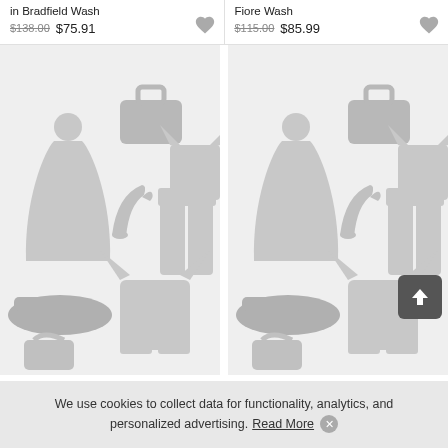in Bradfield Wash
$138.00 $75.91
Fiore Wash
$115.00 $85.99
[Figure (illustration): Placeholder clothing/fashion category image with grey icons of a dress, handbag, t-shirt, high heels, pants, shoes, sweater on light grey background - left product]
[Figure (illustration): Placeholder clothing/fashion category image with grey icons of a dress, handbag, t-shirt, high heels, pants, shoes, sweater on light grey background - right product]
We use cookies to collect data for functionality, analytics, and personalized advertising. Read More